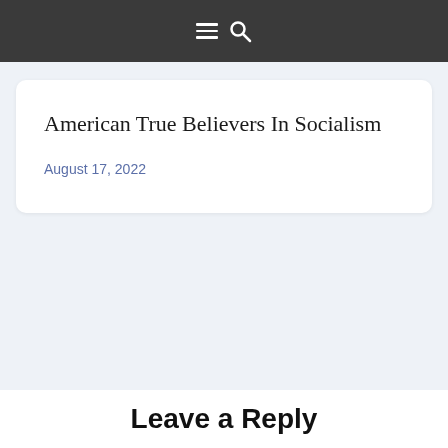≡ 🔍
American True Believers In Socialism
August 17, 2022
Leave a Reply